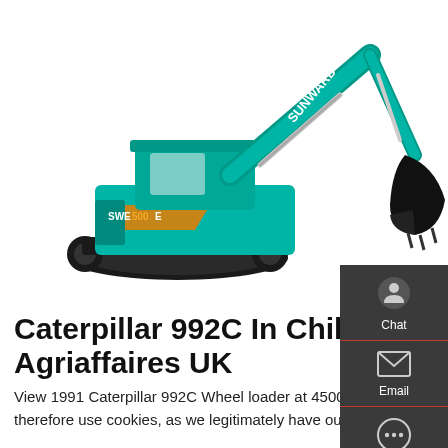[Figure (photo): Sunward SWE500E tracked excavator/wheel loader (teal/green color) on white background, with arm extended holding a bucket. Brand name SUNWARD visible on the boom.]
Caterpillar 992C In Chile | Agriaffaires UK
View 1991 Caterpillar 992C Wheel loader at 45000 USD in Chile | Agriaffaires Your experience on our website is our priority. We therefore use cookies, as we legitimately have our hearts set on improving user experience, producing statistics and offering ad